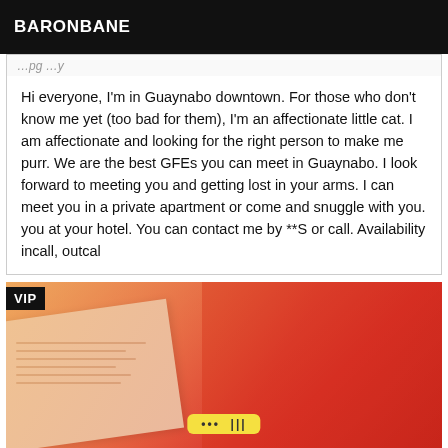BARONBANE
Hi everyone, I'm in Guaynabo downtown. For those who don't know me yet (too bad for them), I'm an affectionate little cat. I am affectionate and looking for the right person to make me purr. We are the best GFEs you can meet in Guaynabo. I look forward to meeting you and getting lost in your arms. I can meet you in a private apartment or come and snuggle with you. you at your hotel. You can contact me by **S or call. Availability incall, outcal
[Figure (photo): A warm reddish-orange toned photo showing what appears to be printed cards or papers on a surface, with a yellow highlighted element at the bottom. A black VIP badge overlay is in the upper left corner.]